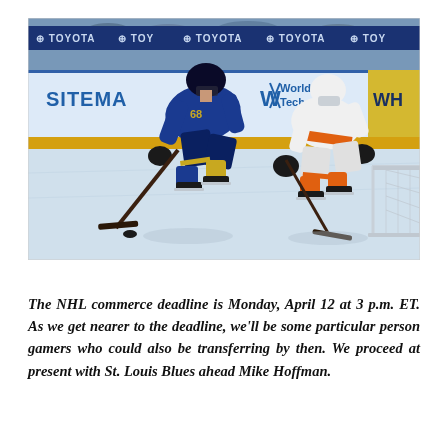[Figure (photo): Two NHL hockey players on ice: a St. Louis Blues player in blue and gold jersey (#68) skating with the puck, and an Anaheim Ducks player in white and orange jersey defending near the goal net. Rink boards visible with Toyota and Siteman/World Tech sponsor advertisements in the background.]
The NHL commerce deadline is Monday, April 12 at 3 p.m. ET. As we get nearer to the deadline, we'll be some particular person gamers who could also be transferring by then. We proceed at present with St. Louis Blues ahead Mike Hoffman.